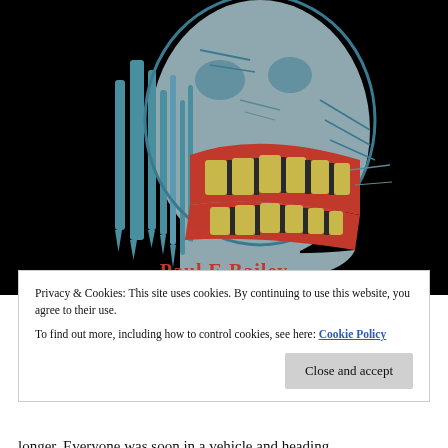[Figure (illustration): A dark illustration on a black background depicting a monstrous zombie-like face/head in teal, grey, red and yellow tones, with exposed teeth and dripping effects. The text 'Paul.E.Bailey' appears in bold red at the bottom of the image.]
Privacy & Cookies: This site uses cookies. By continuing to use this website, you agree to their use.
To find out more, including how to control cookies, see here: Cookie Policy
Close and accept
longer. Everyone was soon in a vehicle and heading